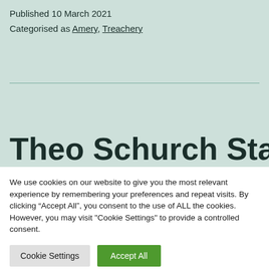Published 10 March 2021
Categorised as Amery, Treachery
Theo  Schurch Statement
We use cookies on our website to give you the most relevant experience by remembering your preferences and repeat visits. By clicking “Accept All”, you consent to the use of ALL the cookies. However, you may visit "Cookie Settings" to provide a controlled consent.